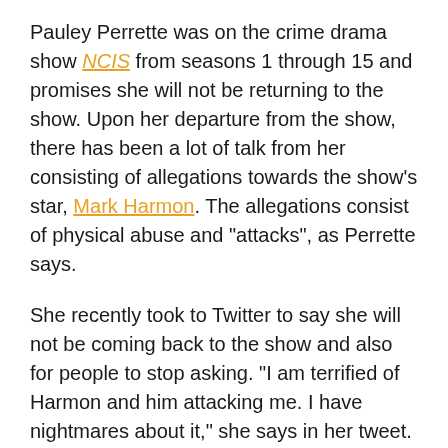Pauley Perrette was on the crime drama show NCIS from seasons 1 through 15 and promises she will not be returning to the show. Upon her departure from the show, there has been a lot of talk from her consisting of allegations towards the show's star, Mark Harmon. The allegations consist of physical abuse and "attacks", as Perrette says.
She recently took to Twitter to say she will not be coming back to the show and also for people to stop asking. "I am terrified of Harmon and him attacking me. I have nightmares about it," she says in her tweet.
See Pauley Perrette's initial